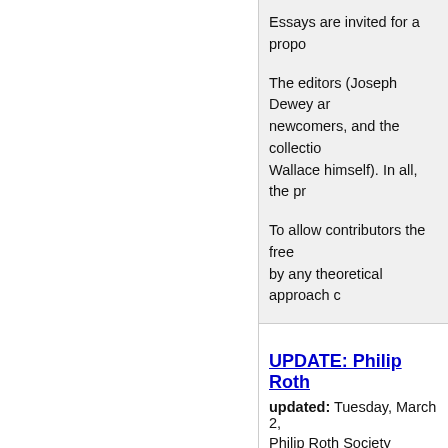Essays are invited for a propo
The editors (Joseph Dewey ar newcomers, and the collectio Wallace himself). In all, the pr
To allow contributors the free by any theoretical approach c
UPDATE: Philip Roth
updated: Tuesday, March 2,
Philip Roth Society
***ANNOUNCING A NEW JOUR
_PHILIP ROTH STUDIES_
Editor, Derek Parker Royal - Te